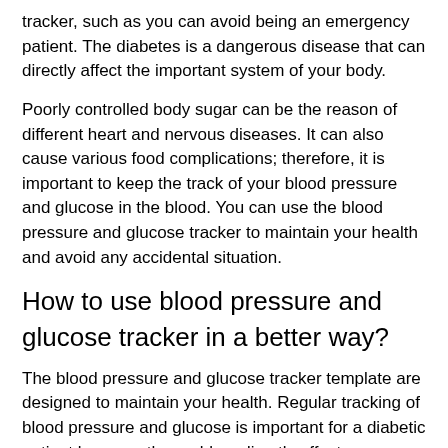tracker, such as you can avoid being an emergency patient. The diabetes is a dangerous disease that can directly affect the important system of your body.
Poorly controlled body sugar can be the reason of different heart and nervous diseases. It can also cause various food complications; therefore, it is important to keep the track of your blood pressure and glucose in the blood. You can use the blood pressure and glucose tracker to maintain your health and avoid any accidental situation.
How to use blood pressure and glucose tracker in a better way?
The blood pressure and glucose tracker template are designed to maintain your health. Regular tracking of blood pressure and glucose is important for a diabetic patient because the problem directly affects your weight, cholesterol level, and blood pressure.
The tracker will help you to record everything to avoid any health complication. You can keep the record of your exercise routine, medications, and checkups. You can write anything from important medicines to procedures.